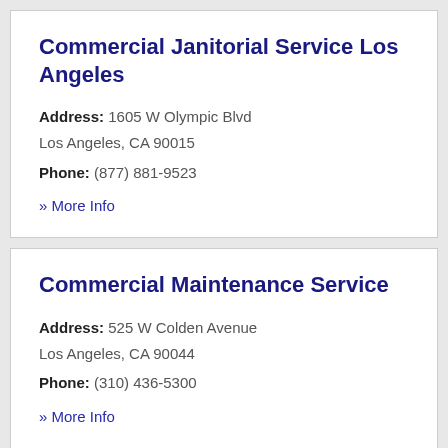Commercial Janitorial Service Los Angeles
Address: 1605 W Olympic Blvd Los Angeles, CA 90015
Phone: (877) 881-9523
» More Info
Commercial Maintenance Service
Address: 525 W Colden Avenue Los Angeles, CA 90044
Phone: (310) 436-5300
» More Info